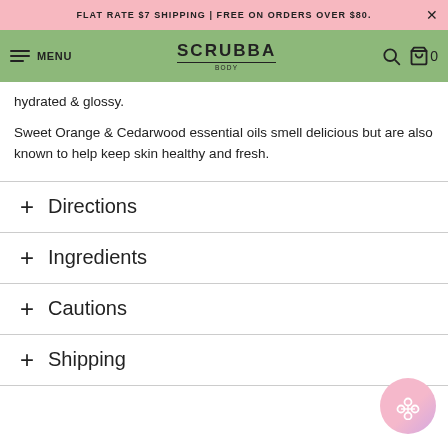FLAT RATE $7 SHIPPING | FREE ON ORDERS OVER $80.
[Figure (screenshot): Scrubba Body website navigation bar with hamburger menu, MENU text, SCRUBBA BODY logo, search icon, and cart icon with 0 items]
hydrated & glossy.
Sweet Orange & Cedarwood essential oils smell delicious but are also known to help keep skin healthy and fresh.
+ Directions
+ Ingredients
+ Cautions
+ Shipping